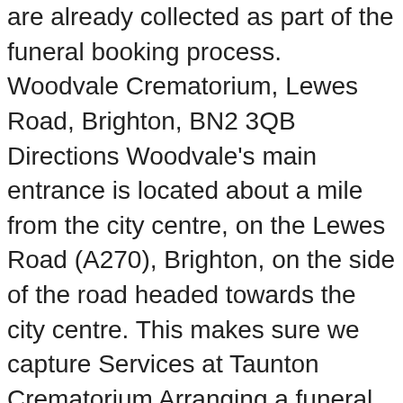are already collected as part of the funeral booking process. Woodvale Crematorium, Lewes Road, Brighton, BN2 3QB Directions Woodvale's main entrance is located about a mile from the city centre, on the Lewes Road (A270), Brighton, on the side of the road headed towards the city centre. This makes sure we capture Services at Taunton Crematorium Arranging a funeral can be daunting as there's a lot to think about. Search for Crematoria & Cemeteries near you. Pic: Google Preston's crematorium is to get fibre optic to improve their IT connection and to facilitate webcasting. The Heart of England crematorium in Nuneaton is owned and managed by Dignity Funerals. Clare Estate Umgeni Hindu Crematorium has increased operating hours and created a shift system in order to conduct more cremations as a result of more Covid-19 related deaths. The Crematorium also offers a range of options for recording a tribute to a loved one in specially inscribed books, which are displayed in cabinets located in the Hall of Remembrance. The Crematorium is available to everyone who